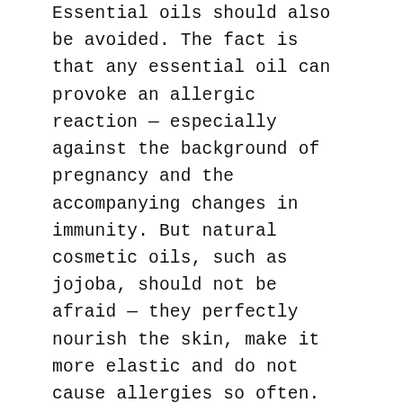Essential oils should also be avoided. The fact is that any essential oil can provoke an allergic reaction — especially against the background of pregnancy and the accompanying changes in immunity. But natural cosmetic oils, such as jojoba, should not be afraid — they perfectly nourish the skin, make it more elastic and do not cause allergies so often.
If you are not sure about the safety of all the ingredients of cosmetics and are afraid to use the usual products, even if they do not contain non-recommended substances, pay attention to special cosmetics for expectant mothers. This is produced by the brands Chicco, Mustela, Avent, Sanosan, Our Mom. Weleda has a maternity line. All these cosmetics are carefully tested and checked, so there are no potentially dangerous substances in